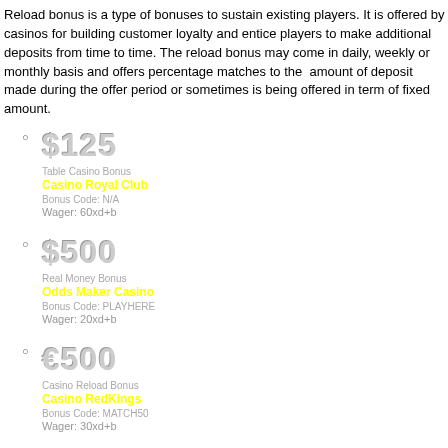Reload bonus is a type of bonuses to sustain existing players. It is offered by casinos for building customer loyalty and entice players to make additional deposits from time to time. The reload bonus may come in daily, weekly or monthly basis and offers percentage matches to the amount of deposit made during the offer period or sometimes is being offered in term of fixed amount.
$125 — Table Casino Bonus — Casino Royal Club — Bonus Code: N/A — Wager: 60xd+b
$500 — Real Money Bonus — Odds Maker Casino — Bonus Code: PLAYHERE — Wager: 20xd+b
€500 — Casino Reload Bonus — Casino RedKings — Bonus Code: MATCH50 — Wager: 30xd+b